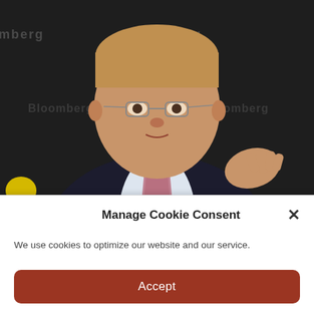[Figure (photo): Photograph of a middle-aged man in a dark suit with a pink/mauve patterned tie and white shirt, wearing wire-rimmed glasses. He is gesturing with his right hand. The background is a dark banner with Bloomberg-related logos repeated. A small yellow element is visible at lower left.]
Manage Cookie Consent
We use cookies to optimize our website and our service.
Accept